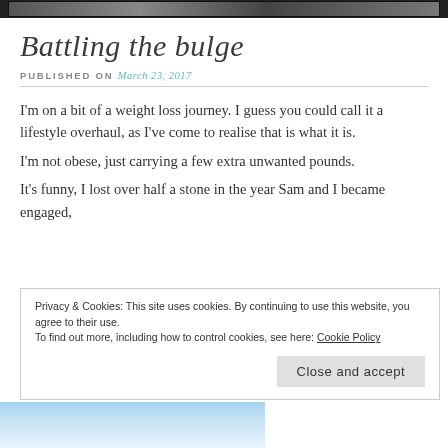[Figure (photo): Dark banner image at the top of the page, partially visible header photo]
Battling the bulge
PUBLISHED ON March 23, 2017
I'm on a bit of a weight loss journey. I guess you could call it a lifestyle overhaul, as I've come to realise that is what it is.
I'm not obese, just carrying a few extra unwanted pounds.
It's funny, I lost over half a stone in the year Sam and I became engaged,
Privacy & Cookies: This site uses cookies. By continuing to use this website, you agree to their use.
To find out more, including how to control cookies, see here: Cookie Policy
[Figure (photo): Blue sky image visible at the bottom left of the page]